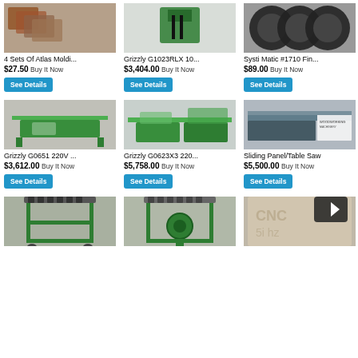[Figure (photo): 4 Sets Of Atlas Molding machine parts on carpet]
4 Sets Of Atlas Moldi...
$27.50 Buy It Now
See Details
[Figure (photo): Grizzly G1023RLX 10 inch cabinet table saw]
Grizzly G1023RLX 10...
$3,404.00 Buy It Now
See Details
[Figure (photo): Systi Matic #1710 Fin... black blade parts]
Systi Matic #1710 Fin...
$89.00 Buy It Now
See Details
[Figure (photo): Grizzly G0651 220V table saw]
Grizzly G0651 220V ...
$3,612.00 Buy It Now
See Details
[Figure (photo): Grizzly G0623X3 220 combination machine]
Grizzly G0623X3 220...
$5,758.00 Buy It Now
See Details
[Figure (photo): Sliding Panel/Table Saw woodworking machinery]
Sliding Panel/Table Saw
$5,500.00 Buy It Now
See Details
[Figure (photo): Green metal roller stand for table saw]
[Figure (photo): Green metal roller stand variant]
[Figure (photo): CNC routed sign with arrow button overlay]